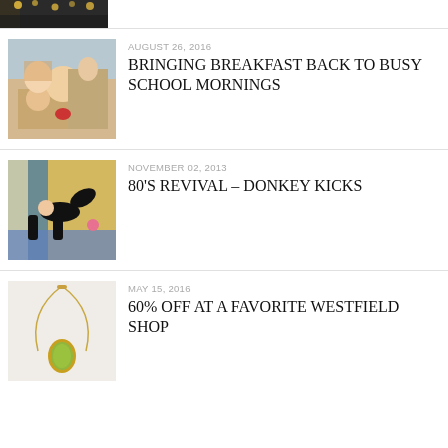[Figure (photo): Partial view of a dark indoor/event photo at the top of the page]
[Figure (photo): Two girls in a kitchen, one eating strawberries]
AUGUST 26, 2016
BRINGING BREAKFAST BACK TO BUSY SCHOOL MORNINGS
[Figure (photo): Woman in black outfit doing donkey kicks exercise on a yoga mat]
NOVEMBER 02, 2013
80'S REVIVAL – DONKEY KICKS
[Figure (photo): Gold necklace with green oval pendant on light background]
MAY 15, 2016
60% OFF AT A FAVORITE WESTFIELD SHOP